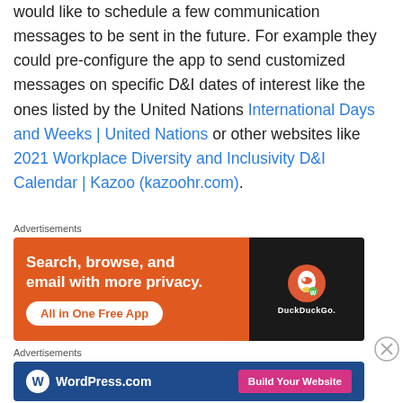would like to schedule a few communication messages to be sent in the future. For example they could pre-configure the app to send customized messages on specific D&I dates of interest like the ones listed by the United Nations International Days and Weeks | United Nations or other websites like 2021 Workplace Diversity and Inclusivity D&I Calendar | Kazoo (kazoohr.com).
Advertisements
[Figure (screenshot): DuckDuckGo advertisement: orange background with white text 'Search, browse, and email with more privacy.' with 'All in One Free App' button and phone mockup on right side showing DuckDuckGo logo.]
Advertisements
[Figure (screenshot): WordPress.com advertisement: dark blue background with WordPress logo and 'Build Your Website' pink button.]